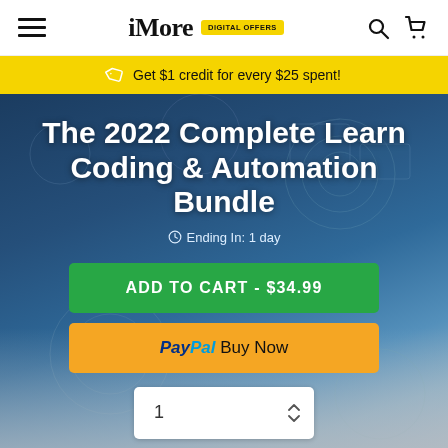iMore DIGITAL OFFERS
Get $1 credit for every $25 spent!
The 2022 Complete Learn Coding & Automation Bundle
Ending In: 1 day
ADD TO CART - $34.99
PayPal Buy Now
1